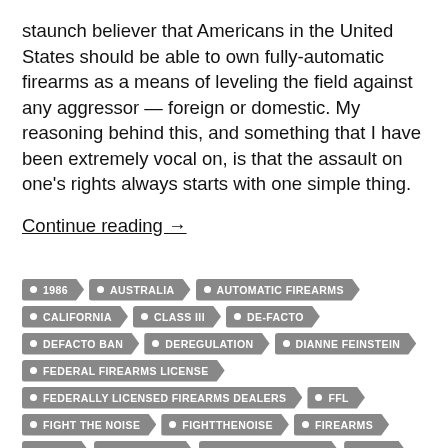staunch believer that Americans in the United States should be able to own fully-automatic firearms as a means of leveling the field against any aggressor — foreign or domestic. My reasoning behind this, and something that I have been extremely vocal on, is that the assault on one's rights always starts with one simple thing.
Continue reading →
1986
AUSTRALIA
AUTOMATIC FIREARMS
CALIFORNIA
CLASS III
DE-FACTO
DEFACTO BAN
DEREGULATION
DIANNE FEINSTEIN
FEDERAL FIREARMS LICENSE
FEDERALLY LICENSED FIREARMS DEALERS
FFL
FIGHT THE NOISE
FIGHTTHENOISE
FIREARMS
FOPA
FULL AUTO
FULLY AUTOMATIC
GOA
GUN CONTROL
GUN OWNERS OF AMERICA
GUN RIGHTS
HELLER FOUNDATION
HOLLIS
HOLLIS VS. LYNCH
HUGHES AMENDMENT
LAWSUIT
MACHINE GUN LAWSUIT
MACHINE GUNS
NATIONAL FIREARMS ACT